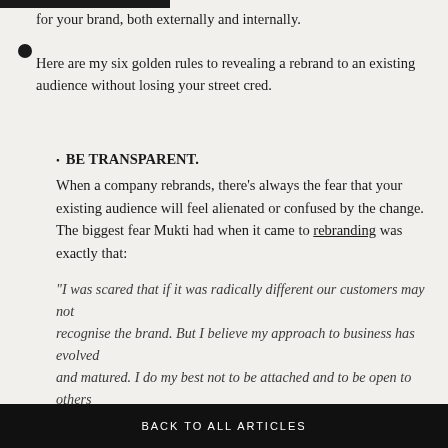for your brand, both externally and internally.
Here are my six golden rules to revealing a rebrand to an existing audience without losing your street cred.
BE TRANSPARENT. When a company rebrands, there's always the fear that your existing audience will feel alienated or confused by the change. The biggest fear Mukti had when it came to rebranding was exactly that:
“I was scared that if it was radically different our customers may not recognise the brand. But I believe my approach to business has evolved and matured. I do my best not to be attached and to be open to others input and advice. Sometimes letting go is hard especially if decisions are taken out of your hands but in order to grow you have to take the leap of faith,
BACK TO ALL ARTICLES